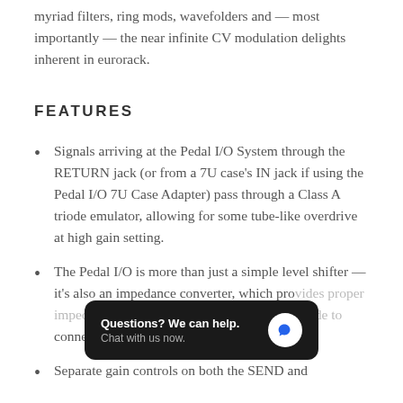myriad filters, ring mods, wavefolders and — most importantly — the near infinite CV modulation delights inherent in eurorack.
FEATURES
Signals arriving at the Pedal I/O System through the RETURN jack (or from a 7U case's IN jack if using the Pedal I/O 7U Case Adapter) pass through a Class A triode emulator, allowing for some tube-like overdrive at high gain setting.
The Pedal I/O is more than just a simple level shifter — it's also an impedance converter, which pro[vides proper impedance] loading for any FX pe[dals you decide to] connect.
Separate gain controls on both the SEND and
[Figure (other): Chat widget overlay: dark rounded rectangle with text 'Questions? We can help.' and 'Chat with us now.' and a blue chat bubble icon on the right.]